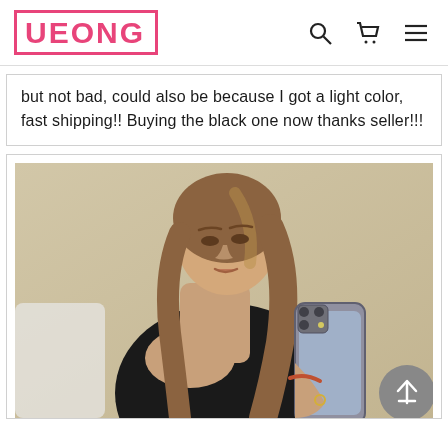UEONG
but not bad, could also be because I got a light color, fast shipping!! Buying the black one now thanks seller!!!
[Figure (photo): Mirror selfie of a young woman with long brown hair wearing a black cutout top, holding a phone to take the photo. Background is a light beige/gold wall.]